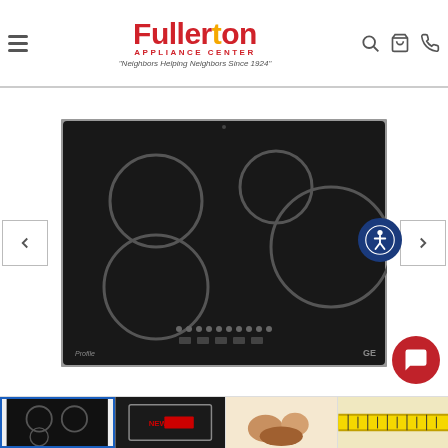[Figure (logo): Fullerton Appliance Center logo in red with tagline 'Neighbors Helping Neighbors Since 1924']
[Figure (photo): GE Profile induction cooktop with 4 burner rings on black glass surface, stainless steel trim, touch control panel at bottom center]
[Figure (photo): Thumbnail row showing 4 small images of the cooktop from different angles or context]